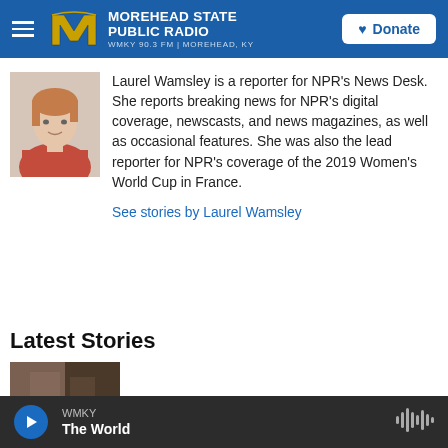MOREHEAD STATE PUBLIC RADIO — WMKY 90.3 FM | MOREHEAD, KY
[Figure (photo): Headshot of Laurel Wamsley, a woman with reddish hair wearing an orange/red top, against a light background]
Laurel Wamsley is a reporter for NPR's News Desk. She reports breaking news for NPR's digital coverage, newscasts, and news magazines, as well as occasional features. She was also the lead reporter for NPR's coverage of the 2019 Women's World Cup in France.
See stories by Laurel Wamsley
Latest Stories
[Figure (photo): Thumbnail image for a news story, partially visible at bottom of page]
WMKY — The World